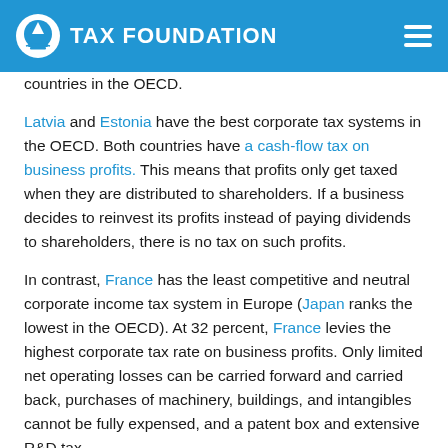TAX FOUNDATION
countries in the OECD.
Latvia and Estonia have the best corporate tax systems in the OECD. Both countries have a cash-flow tax on business profits. This means that profits only get taxed when they are distributed to shareholders. If a business decides to reinvest its profits instead of paying dividends to shareholders, there is no tax on such profits.
In contrast, France has the least competitive and neutral corporate income tax system in Europe (Japan ranks the lowest in the OECD). At 32 percent, France levies the highest corporate tax rate on business profits. Only limited net operating losses can be carried forward and carried back, purchases of machinery, buildings, and intangibles cannot be fully expensed, and a patent box and extensive R&D tax